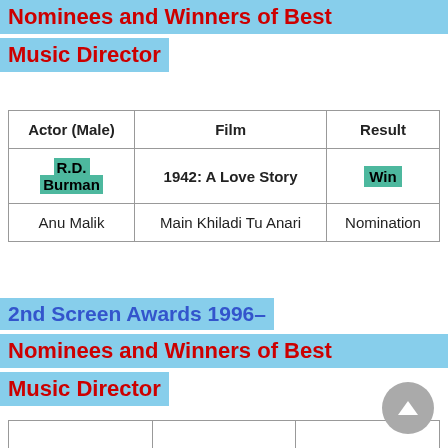Nominees and Winners of Best Music Director
| Actor (Male) | Film | Result |
| --- | --- | --- |
| R.D. Burman | 1942: A Love Story | Win |
| Anu Malik | Main Khiladi Tu Anari | Nomination |
2nd Screen Awards 1996–
Nominees and Winners of Best Music Director